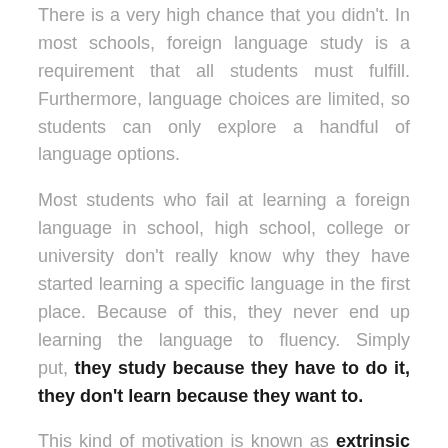There is a very high chance that you didn't. In most schools, foreign language study is a requirement that all students must fulfill. Furthermore, language choices are limited, so students can only explore a handful of language options.
Most students who fail at learning a foreign language in school, high school, college or university don't really know why they have started learning a specific language in the first place. Because of this, they never end up learning the language to fluency. Simply put, they study because they have to do it, they don't learn because they want to.
This kind of motivation is known as extrinsic motivation.